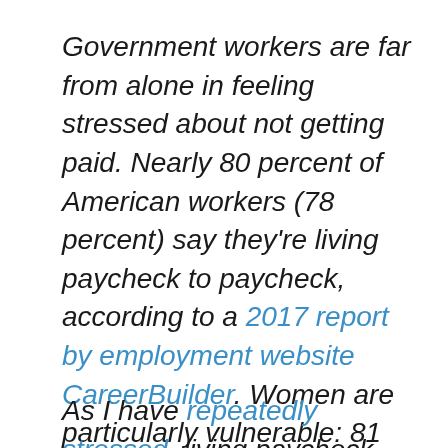Government workers are far from alone in feeling stressed about not getting paid. Nearly 80 percent of American workers (78 percent) say they're living paycheck to paycheck, according to a 2017 report by employment website CareerBuilder. Women are particularly vulnerable: 81 percent of them report living paycheck to paycheck, compared with 75 percent of men.
As I have repeatedly stressed, living paycheck